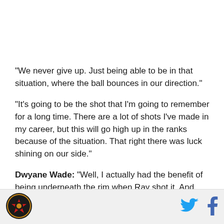"We never give up. Just being able to be in that situation, where the ball bounces in our direction."
"It's going to be the shot that I'm going to remember for a long time. There are a lot of shots I've made in my career, but this will go high up in the ranks because of the situation. That right there was luck shining on our side."
Dwyane Wade: "Well, I actually had the benefit of being underneath the rim when Ray shot it. And when
[Figure (logo): Circular logo with red and gold design on dark background]
[Figure (logo): Twitter bird icon in blue]
[Figure (logo): Facebook f icon in blue]